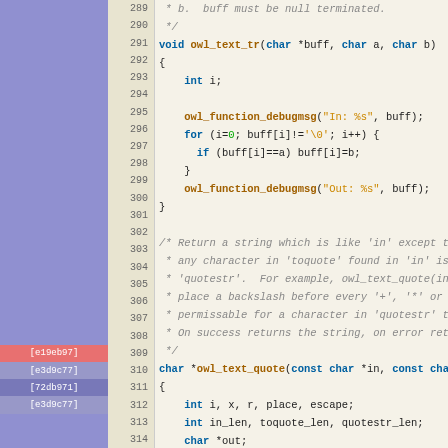[Figure (screenshot): Source code viewer showing C code lines 289-314 with syntax highlighting, line numbers, and git blame annotations in the left gutter.]